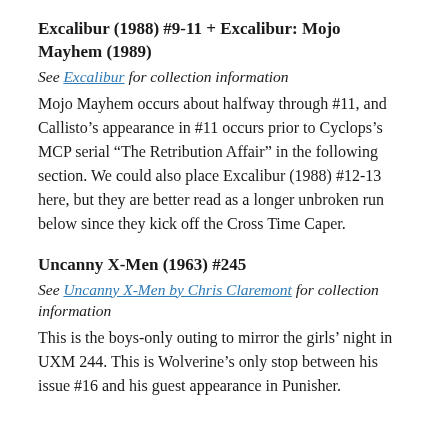Excalibur (1988) #9-11 + Excalibur: Mojo Mayhem (1989)
See Excalibur for collection information
Mojo Mayhem occurs about halfway through #11, and Callisto’s appearance in #11 occurs prior to Cyclops’s MCP serial “The Retribution Affair” in the following section. We could also place Excalibur (1988) #12-13 here, but they are better read as a longer unbroken run below since they kick off the Cross Time Caper.
Uncanny X-Men (1963) #245
See Uncanny X-Men by Chris Claremont for collection information
This is the boys-only outing to mirror the girls’ night in UXM 244. This is Wolverine’s only stop between his issue #16 and his guest appearance in Punisher.